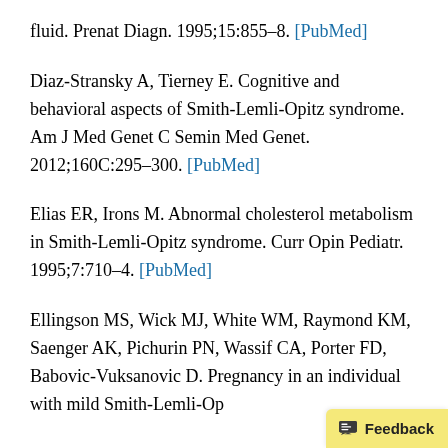fluid. Prenat Diagn. 1995;15:855–8. [PubMed]
Diaz-Stransky A, Tierney E. Cognitive and behavioral aspects of Smith-Lemli-Opitz syndrome. Am J Med Genet C Semin Med Genet. 2012;160C:295–300. [PubMed]
Elias ER, Irons M. Abnormal cholesterol metabolism in Smith-Lemli-Opitz syndrome. Curr Opin Pediatr. 1995;7:710–4. [PubMed]
Ellingson MS, Wick MJ, White WM, Raymond KM, Saenger AK, Pichurin PN, Wassif CA, Porter FD, Babovic-Vuksanovic D. Pregnancy in an individual with mild Smith-Lemli-Op...